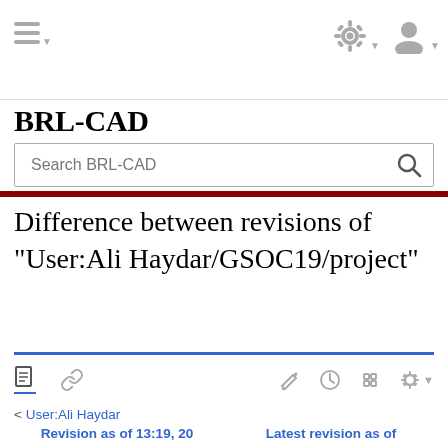BRL-CAD — Search BRL-CAD
Difference between revisions of "User:Ali Haydar/GSOC19/project"
< User:Ali Haydar
| Revision as of 13:19, 20 May 2019 (edit) | Latest revision as of 07:12, 26 May 2019 (edit) (undo) |
| --- | --- |
| Ali Haydar (talk | contribs) | Ali Haydar (talk | contribs) |
| m (Ali Haydar moved page User:Ali Haydar to |  |